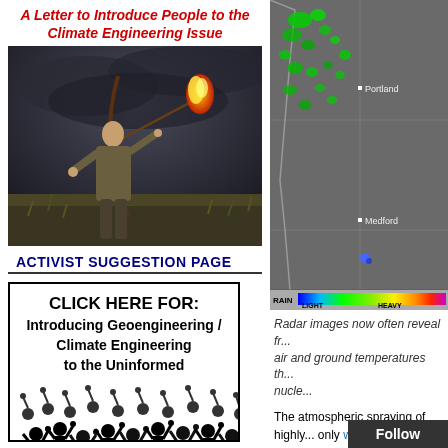A Letter to Introduce People to the Climate Engineering Issue
[Figure (photo): Man in field drawing a bow with a flaming arrow, dramatic dark sky background]
ACTIVIST SUGGESTION PAGE
[Figure (infographic): Black and white graphic with text: CLICK HERE FOR: Introducing Geoengineering / Climate Engineering to the Uninformed, with crowd of protesters below]
[Figure (map): Radar weather map showing Oregon region with Portland and Medford labeled, green precipitation markers, with RAIN LIGHT to HEAVY color legend bar]
Radar images now often reveal fr... air and ground temperatures th... nucle...
The atmospheric spraying of highly... only worsening the climate catastr... also causing epic drought all over t... other locations). With the water lev... shattering lows and dropping furthe... to run dry.